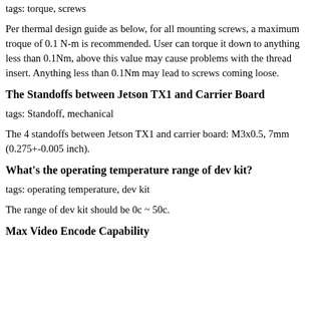tags: torque, screws
Per thermal design guide as below, for all mounting screws, a maximum troque of 0.1 N-m is recommended. User can torque it down to anything less than 0.1Nm, above this value may cause problems with the thread insert. Anything less than 0.1Nm may lead to screws coming loose.
The Standoffs between Jetson TX1 and Carrier Board
tags: Standoff, mechanical
The 4 standoffs between Jetson TX1 and carrier board: M3x0.5, 7mm (0.275+-0.005 inch).
What's the operating temperature range of dev kit?
tags: operating temperature, dev kit
The range of dev kit should be 0c ~ 50c.
Max Video Encode Capability